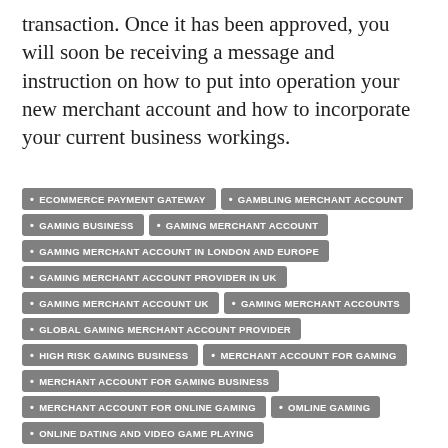transaction. Once it has been approved, you will soon be receiving a message and instruction on how to put into operation your new merchant account and how to incorporate your current business workings.
ECOMMERCE PAYMENT GATEWAY
GAMBLING MERCHANT ACCOUNT
GAMING BUSINESS
GAMING MERCHANT ACCOUNT
GAMING MERCHANT ACCOUNT IN LONDON AND EUROPE
GAMING MERCHANT ACCOUNT PROVIDER IN UK
GAMING MERCHANT ACCOUNT UK
GAMING MERCHANT ACCOUNTS
GLOBAL GAMING MERCHANT ACCOUNT PROVIDER
HIGH RISK GAMING BUSINESS
MERCHANT ACCOUNT FOR GAMING
MERCHANT ACCOUNT FOR GAMING BUSINESS
MERCHANT ACCOUNT FOR ONLINE GAMING
OMLINE GAMING
ONLINE DATING AND VIDEO GAME PLAYING
ONLINE GAMBLING INDUSTRY
ONLINE GAMING
ONLINE GAMING ACCOUNT
ONLINE GAMING INDUSTRY
ONLINE GAMING MERCHANT ACCOUNT